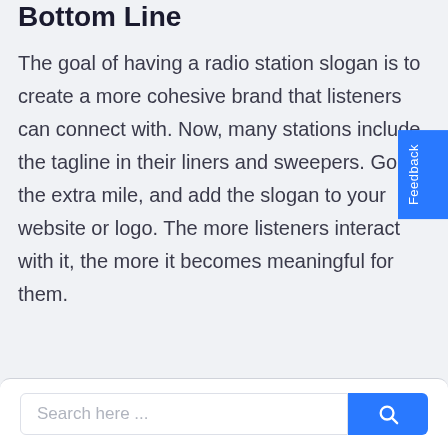Bottom Line
The goal of having a radio station slogan is to create a more cohesive brand that listeners can connect with. Now, many stations include the tagline in their liners and sweepers. Go the extra mile, and add the slogan to your website or logo. The more listeners interact with it, the more it becomes meaningful for them.